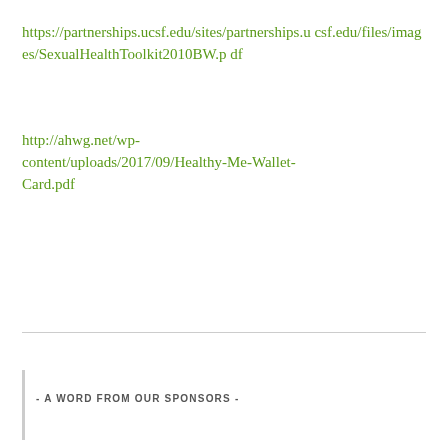https://partnerships.ucsf.edu/sites/partnerships.ucsf.edu/files/images/SexualHealthToolkit2010BW.pdf
http://ahwg.net/wp-content/uploads/2017/09/Healthy-Me-Wallet-Card.pdf
- A WORD FROM OUR SPONSORS -